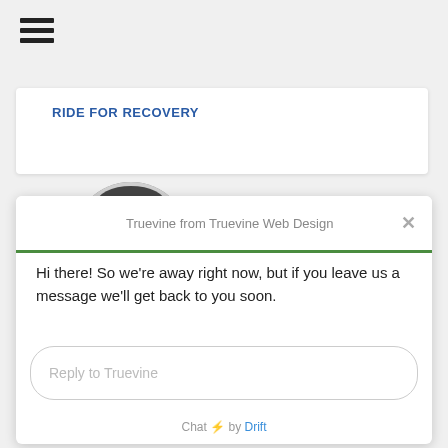[Figure (other): Hamburger menu icon (three horizontal lines)]
RIDE FOR RECOVERY
[Figure (photo): Black and white headshot of a man smiling, large avatar]
[Figure (photo): Black and white headshot of a bearded man, small avatar]
Truevine from Truevine Web Design
Hi there! So we're away right now, but if you leave us a message we'll get back to you soon.
Reply to Truevine
Chat ⚡ by Drift